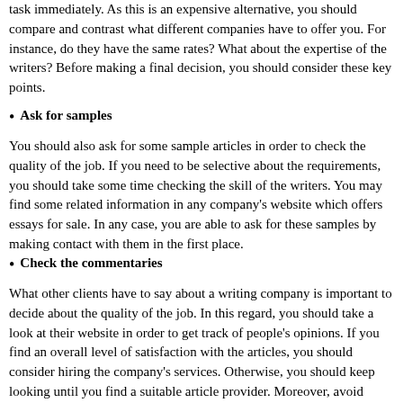task immediately. As this is an expensive alternative, you should compare and contrast what different companies have to offer you. For instance, do they have the same rates? What about the expertise of the writers? Before making a final decision, you should consider these key points.
Ask for samples
You should also ask for some sample articles in order to check the quality of the job. If you need to be selective about the requirements, you should take some time checking the skill of the writers. You may find some related information in any company's website which offers essays for sale. In any case, you are able to ask for these samples by making contact with them in the first place.
Check the commentaries
What other clients have to say about a writing company is important to decide about the quality of the job. In this regard, you should take a look at their website in order to get track of people's opinions. If you find an overall level of satisfaction with the articles, you should consider hiring the company's services. Otherwise, you should keep looking until you find a suitable article provider. Moreover, avoid